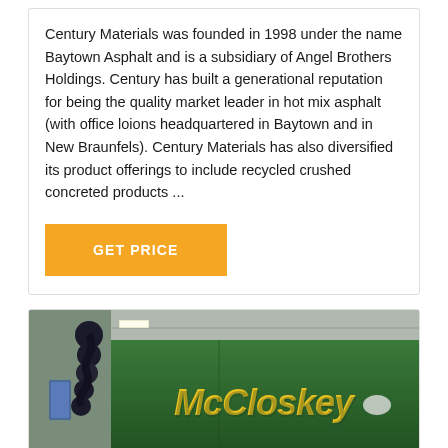Century Materials was founded in 1998 under the name Baytown Asphalt and is a subsidiary of Angel Brothers Holdings. Century has built a generational reputation for being the quality market leader in hot mix asphalt (with office loions headquartered in Baytown and in New Braunfels). Century Materials has also diversified its product offerings to include recycled crushed concreted products ...
[Figure (other): Orange/amber button labeled GET PRICE in white bold uppercase text]
[Figure (photo): Photo of a green McCloskey branded industrial machine (likely a crusher or screener) inside a warehouse/industrial building with metal ceiling structure visible]